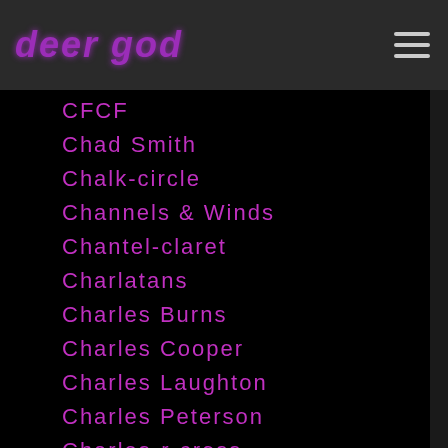deer god
CFCF
Chad Smith
Chalk-circle
Channels & Winds
Chantel-claret
Charlatans
Charles Burns
Charles Cooper
Charles Laughton
Charles Peterson
Charles-r-cross
Charlie-chaplin
Charlie-parker
Charli Xcx
Charming-disaster
Chasing Trane
Chats